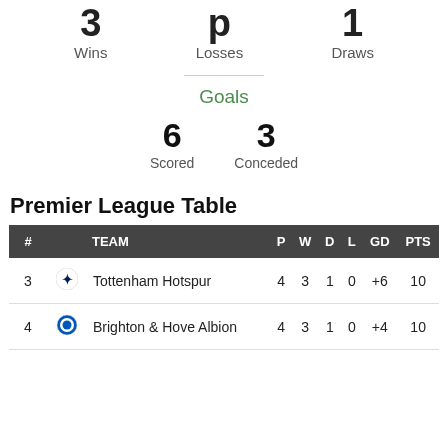Wins   Losses   Draws
Goals
6 Scored   3 Conceded
Premier League Table
| # | TEAM | P | W | D | L | GD | PTS |
| --- | --- | --- | --- | --- | --- | --- | --- |
| 3 | Tottenham Hotspur | 4 | 3 | 1 | 0 | +6 | 10 |
| 4 | Brighton & Hove Albion | 4 | 3 | 1 | 0 | +4 | 10 |